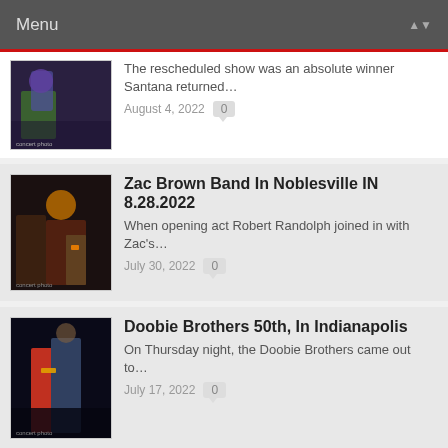Menu
The rescheduled show was an absolute winner Santana returned…
August 4, 2022  0
Zac Brown Band In Noblesville IN 8.28.2022
When opening act Robert Randolph joined in with Zac's…
July 30, 2022  0
Doobie Brothers 50th, In Indianapolis
On Thursday night, the Doobie Brothers came out to…
July 17, 2022  0
Rod Stewart 2022 Review
A balmy then rainy night in